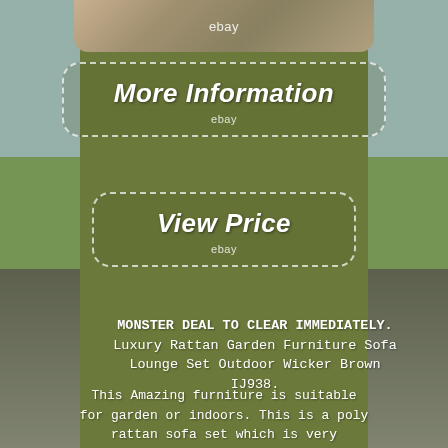[Figure (photo): Top portion of product image showing rattan garden furniture with eBay watermark, displayed as a rounded rectangle strip at top of page]
[Figure (screenshot): More Information button with dotted border on olive/dark background with eBay label below]
[Figure (screenshot): View Price button with dotted border on olive/dark background with eBay label below]
MONSTER DEAL TO CLEAR IMMEDIATELY. Luxury Rattan Garden Furniture Sofa Lounge Set Outdoor Wicker Brown IJ938.
This Amazing furniture is suitable for garden or indoors. This is a poly rattan sofa set which is very versatile and enhances your garden, terrace, winter garden or living room. We offer a Comfortable set where you will be to relax for hours on end, and it does not only look great we can guarantee our furniture a very long endurable life. Rattan